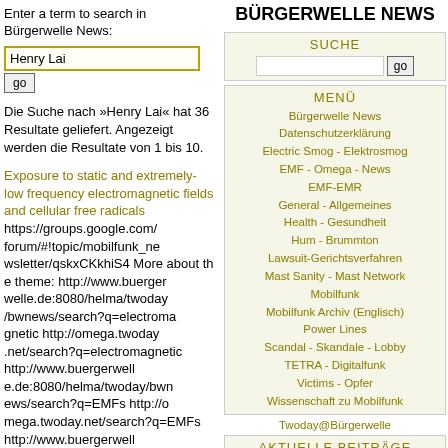Enter a term to search in Bürgerwelle News:
Henry Lai
go
Die Suche nach »Henry Lai« hat 36 Resultate geliefert. Angezeigt werden die Resultate von 1 bis 10.
Exposure to static and extremely-low frequency electromagnetic fields and cellular free radicals https://groups.google.com/forum/#!topic/mobilfunk_newsletter/qskxCKkhiS4 More about the theme: http://www.buergerwelle.de:8080/helma/twoday/bwnews/search?q=electroma gnetic http://omega.twoday.net/search?q=electromagnetic http://www.buergerwell e.de:8080/helma/twoday/bwn ews/search?q=EMFs http://o mega.twoday.net/search?q=EMFs http://www.buergerwell e.de:8080/helma/twoday/bwn ews/search?q=low-frequency
BÜRGERWELLE NEWS
SUCHE
go
MENÜ
Bürgerwelle News
Datenschutzerklärung
Electric Smog - Elektrosmog
EMF - Omega - News
EMF-EMR
General - Allgemeines
Health - Gesundheit
Hum - Brummton
Lawsuit-Gerichtsverfahren
Mast Sanity - Mast Network
Mobilfunk
Mobilfunk Archiv (Englisch)
Power Lines
Scandal - Skandale - Lobby
TETRA - Digitalfunk
Victims - Opfer
Wissenschaft zu Mobilfunk
Twoday@Bürgerwelle
AKTUELLE BEITRÄGE
Over 40% of planning...
Irish Examiner More than 40% of